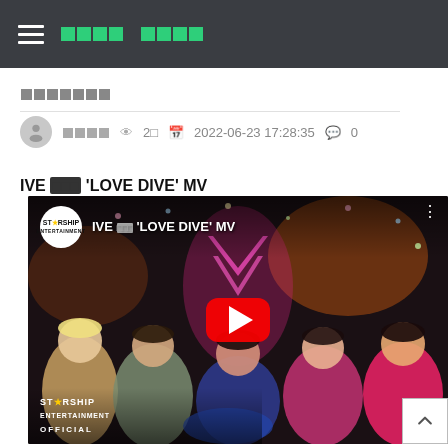□□□□ □□□□
□□□□□□□
□□□□  👁 2□  📅 2022-06-23 17:28:35  💬 0
IVE □□□ 'LOVE DIVE' MV
[Figure (screenshot): YouTube video thumbnail for IVE LOVE DIVE MV by Starship Entertainment, showing six female K-pop group members in colorful outfits against a dark party background with confetti. A red YouTube play button is overlaid in the center. The Starship Entertainment logo appears top-left and bottom-left of the thumbnail.]